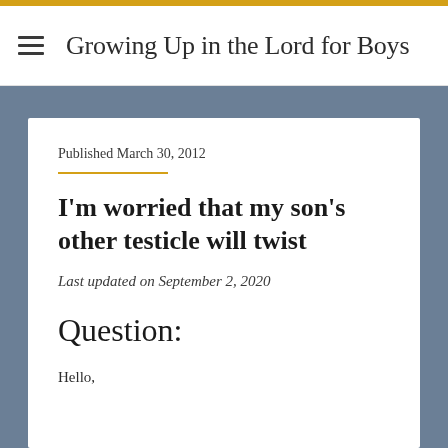Growing Up in the Lord for Boys
Published March 30, 2012
I'm worried that my son's other testicle will twist
Last updated on September 2, 2020
Question:
Hello,